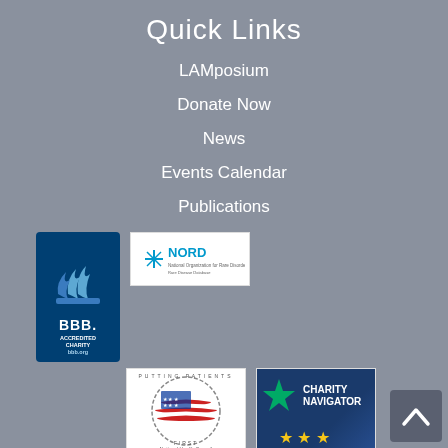Quick Links
LAMposium
Donate Now
News
Events Calendar
Publications
[Figure (logo): BBB Accredited Charity logo with blue flame symbol and bbb.org text]
[Figure (logo): NORD - National Organization for Rare Disorders logo]
[Figure (logo): National Health Council Standards of Excellence Certification Program - Putting Patients First logo]
[Figure (logo): Charity Navigator Three Star Charity logo with star symbol]
[Figure (logo): Rare Foundation Alliance Member logo]
[Figure (logo): GuideStar logo]